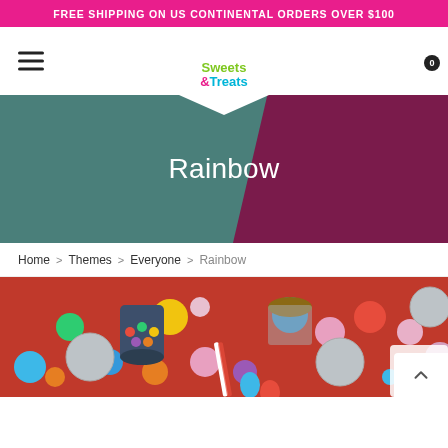FREE SHIPPING ON US CONTINENTAL ORDERS OVER $100
[Figure (logo): Sweets & Treats logo in a shield/pentagon shape with colorful text]
Rainbow
Home > Themes > Everyone > Rainbow
[Figure (photo): Overhead photo of colorful candies, gumballs, cupcakes and sweets on a red background]